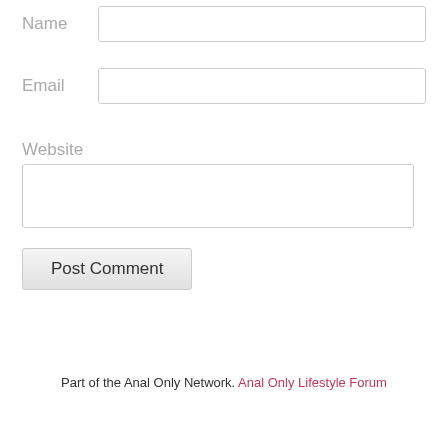Name
Email
Website
Post Comment
Part of the Anal Only Network. Anal Only Lifestyle Forum